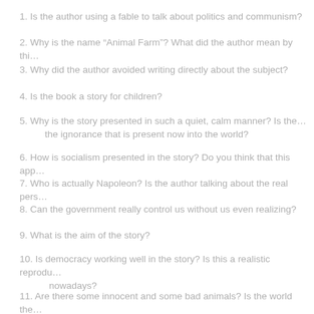1. Is the author using a fable to talk about politics and communism?
2. Why is the name “Animal Farm”? What did the author mean by thi…
3. Why did the author avoided writing directly about the subject?
4. Is the book a story for children?
5. Why is the story presented in such a quiet, calm manner? Is the… the ignorance that is present now into the world?
6. How is socialism presented in the story? Do you think that this app…
7. Who is actually Napoleon? Is the author talking about the real pers…
8. Can the government really control us without us even realizing?
9. What is the aim of the story?
10. Is democracy working well in the story? Is this a realistic reprodu… nowadays?
11. Are there some innocent and some bad animals? Is the world the…